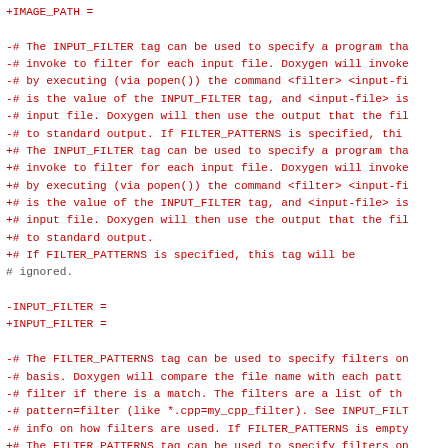Diff output showing changes to IMAGE_PATH, INPUT_FILTER, and FILTER_PATTERNS configuration entries in a Doxygen configuration file.